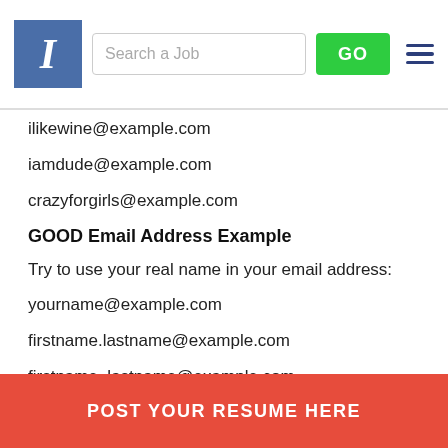[Figure (screenshot): Website header with blue 'I' logo, search bar labeled 'Search a Job', green 'GO' button, and hamburger menu icon]
ilikewine@example.com
iamdude@example.com
crazyforgirls@example.com
GOOD Email Address Example
Try to use your real name in your email address:
yourname@example.com
firstname.lastname@example.com
firstname_lastname@example.com
Suggestion : Create... your job search.
[Figure (other): Red banner button with text 'POST YOUR RESUME HERE']